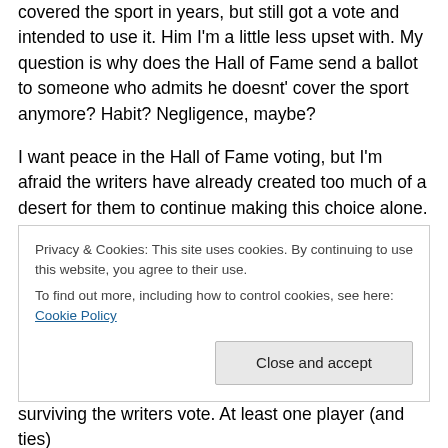covered the sport in years, but still got a vote and intended to use it. Him I'm a little less upset with. My question is why does the Hall of Fame send a ballot to someone who admits he doesnt' cover the sport anymore? Habit? Negligence, maybe?
I want peace in the Hall of Fame voting, but I'm afraid the writers have already created too much of a desert for them to continue making this choice alone. I've seen a number of different proposals for change. One suggests letting the writers vote for whoever they want on the ballot (no 10
Privacy & Cookies: This site uses cookies. By continuing to use this website, you agree to their use.
To find out more, including how to control cookies, see here: Cookie Policy
Close and accept
surviving the writers vote. At least one player (and ties)